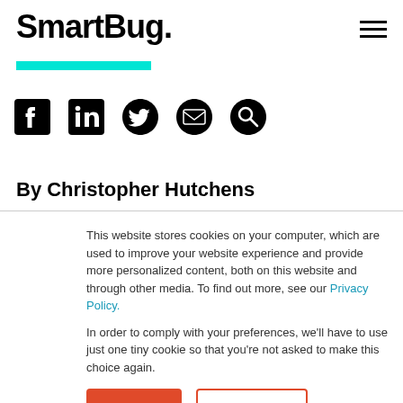SmartBug.
[Figure (illustration): Cyan/teal horizontal bar accent]
[Figure (illustration): Row of social media icons: Facebook, LinkedIn, Twitter, Email, Search]
By Christopher Hutchens
This website stores cookies on your computer, which are used to improve your website experience and provide more personalized content, both on this website and through other media. To find out more, see our Privacy Policy.
In order to comply with your preferences, we'll have to use just one tiny cookie so that you're not asked to make this choice again.